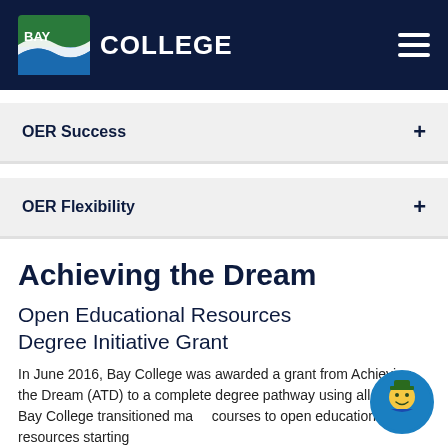[Figure (logo): Bay College logo with green and blue wave design, white text 'BAY COLLEGE' on dark navy header with hamburger menu icon]
OER Success
OER Flexibility
Achieving the Dream
Open Educational Resources Degree Initiative Grant
In June 2016, Bay College was awarded a grant from Achieving the Dream (ATD) to a complete degree pathway using all OER. Bay College transitioned many courses to open educational resources starting